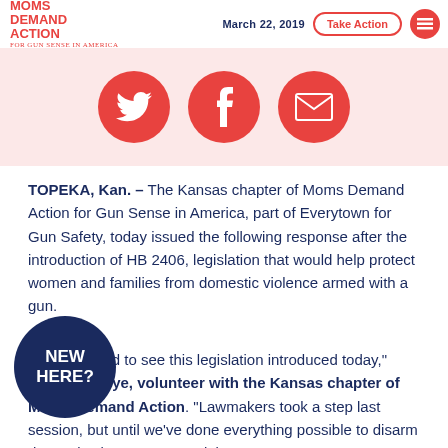MOMS DEMAND ACTION FOR GUN SENSE IN AMERICA | March 22, 2019 | Take Action
[Figure (illustration): Three red circular social media share buttons: Twitter bird icon, Facebook f icon, and email envelope icon, on a light pink background strip.]
TOPEKA, Kan. – The Kansas chapter of Moms Demand Action for Gun Sense in America, part of Everytown for Gun Safety, today issued the following response after the introduction of HB 2406, legislation that would help protect women and families from domestic violence armed with a gun.
“We’re thrilled to see this legislation introduced today,” said Ella Hoye, volunteer with the Kansas chapter of Moms Demand Action. “Lawmakers took a step last session, but until we’ve done everything possible to disarm domestic abusers, our work is not
[Figure (logo): Dark blue circular badge with white bold text reading NEW HERE?]